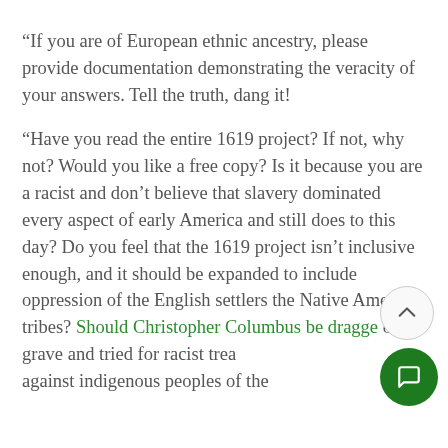“If you are of European ethnic ancestry, please provide documentation demonstrating the veracity of your answers. Tell the truth, dang it!
“Have you read the entire 1619 project? If not, why not? Would you like a free copy? Is it because you are a racist and don’t believe that slavery dominated every aspect of early America and still does to this day? Do you feel that the 1619 project isn’t inclusive enough, and it should be expanded to include oppression of the English settlers the Native American tribes? Should Christopher Columbus be dragged of his grave and tried for racist trea against indigenous peoples of the